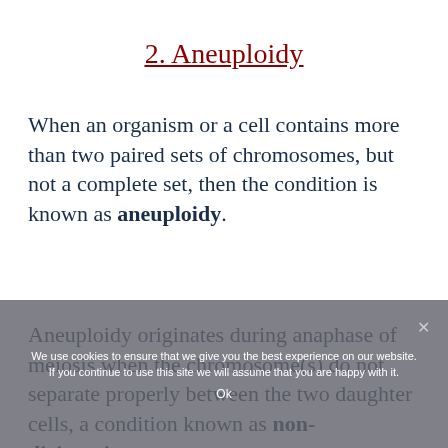2. Aneuploidy
When an organism or a cell contains more than two paired sets of chromosomes, but not a complete set, then the condition is known as aneuploidy.
Aneuploidy originates during anaphase of meiosis when the chromosome(s) do not separate properly between the two daughter cells, a condition known as non-disjunction.
We use cookies to ensure that we give you the best experience on our website. If you continue to use this site we will assume that you are happy with it.
Ok